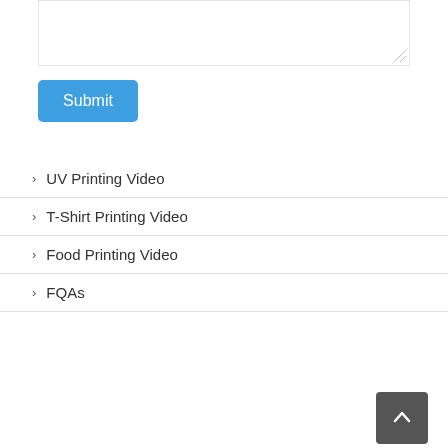[Figure (screenshot): A textarea input box (form element) shown at the top of the page, partially visible.]
Submit
> UV Printing Video
> T-Shirt Printing Video
> Food Printing Video
> FQAs